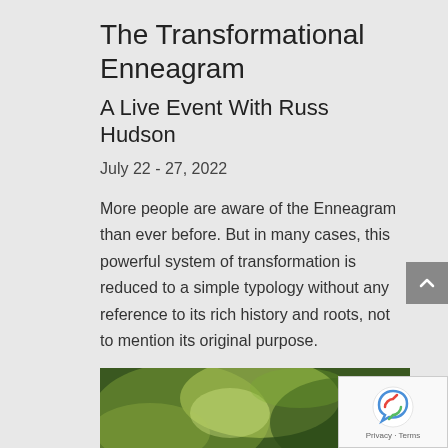The Transformational Enneagram
A Live Event With Russ Hudson
July 22 - 27, 2022
More people are aware of the Enneagram than ever before. But in many cases, this powerful system of transformation is reduced to a simple typology without any reference to its rich history and roots, not to mention its original purpose.
[Figure (photo): Close-up photo of green leaves or plant with blurred bokeh background]